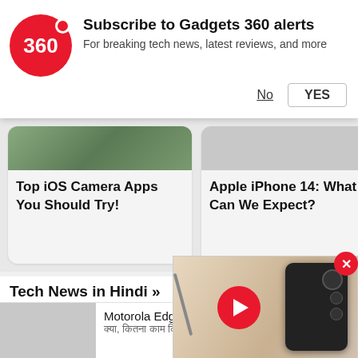[Figure (screenshot): Gadgets 360 notification banner with red circular logo showing '360', title 'Subscribe to Gadgets 360 alerts', subtitle 'For breaking tech news, latest reviews, and more', and No/YES buttons]
Subscribe to Gadgets 360 alerts
For breaking tech news, latest reviews, and more
No
YES
Top iOS Camera Apps You Should Try!
Apple iPhone 14: What Can We Expect?
Tech News in Hindi »
Motorola Edge 30 Neo
क्या यह फोन आपके लिए सही है?
[Figure (photo): Video thumbnail showing a Motorola Edge 30 Neo phone with a red play button overlay]
क्या आपके स्मार्टफोन पर आया WhatsApp मैसेज आया, जानें क्या है